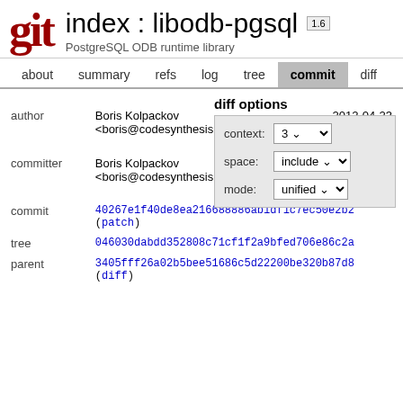index : libodb-pgsql 1.6 — PostgreSQL ODB runtime library
about  summary  refs  log  tree  commit  diff
diff options
context: 3
space: include
mode: unified
|  | Name / Email | Date |
| --- | --- | --- |
| author | Boris Kolpackov <boris@codesynthesis.com> | 2012-04-23 16:48:02 +0200 |
| committer | Boris Kolpackov <boris@codesynthesis.com> | 2012-04-23 16:48:02 +0200 |
| commit | 40267e1f40de8ea216688886ab1df1c7ec50e2b2 (patch) |  |
| tree | 046030dabdd352808c71cf1f2a9bfed706e86c2a |  |
| parent | 3405fff26a02b5bee51686c5d22200be320b87d8 (diff) |  |